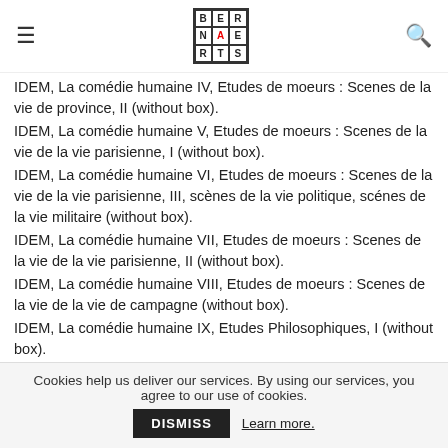BERNAERTS logo with hamburger menu and search icon
IDEM, La comédie humaine IV, Etudes de moeurs : Scenes de la vie de province, II (without box).
IDEM, La comédie humaine V, Etudes de moeurs : Scenes de la vie de la vie parisienne, I (without box).
IDEM, La comédie humaine VI, Etudes de moeurs : Scenes de la vie de la vie parisienne, III, scènes de la vie politique, scénes de la vie militaire (without box).
IDEM, La comédie humaine VII, Etudes de moeurs : Scenes de la vie de la vie parisienne, II (without box).
IDEM, La comédie humaine VIII, Etudes de moeurs : Scenes de la vie de la vie de campagne (without box).
IDEM, La comédie humaine IX, Etudes Philosophiques, I (without box).
IDEM, La comédie humaine X, Etudes Philosophiques, II, études analytiques (without box).
BARBEY D'AUREYVILLY, Oeuvres romanesques complètes, I. (without box).
BARBEY D'AUREYVILLY, Oeuvres romanesques complètes, II (without box).
Cookies help us deliver our services. By using our services, you agree to our use of cookies. DISMISS Learn more.